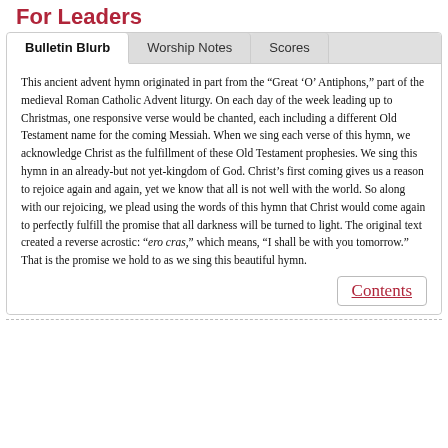For Leaders
Bulletin Blurb
This ancient advent hymn originated in part from the “Great ‘O’ Antiphons,” part of the medieval Roman Catholic Advent liturgy. On each day of the week leading up to Christmas, one responsive verse would be chanted, each including a different Old Testament name for the coming Messiah. When we sing each verse of this hymn, we acknowledge Christ as the fulfillment of these Old Testament prophesies. We sing this hymn in an already-but not yet-kingdom of God. Christ’s first coming gives us a reason to rejoice again and again, yet we know that all is not well with the world. So along with our rejoicing, we plead using the words of this hymn that Christ would come again to perfectly fulfill the promise that all darkness will be turned to light. The original text created a reverse acrostic: “ero cras,” which means, “I shall be with you tomorrow.” That is the promise we hold to as we sing this beautiful hymn.
Contents